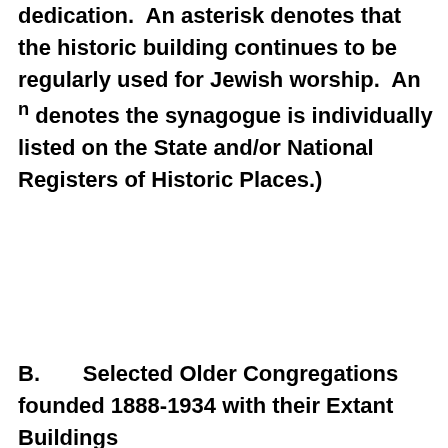dedication.  An asterisk denotes that the historic building continues to be regularly used for Jewish worship.  An n denotes the synagogue is individually listed on the State and/or National Registers of Historic Places.)
B.      Selected Older Congregations founded 1888-1934 with their Extant Buildings